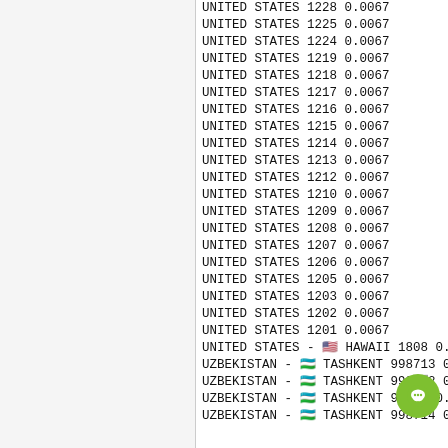UNITED STATES 1228 0.0067
UNITED STATES 1225 0.0067
UNITED STATES 1224 0.0067
UNITED STATES 1219 0.0067
UNITED STATES 1218 0.0067
UNITED STATES 1217 0.0067
UNITED STATES 1216 0.0067
UNITED STATES 1215 0.0067
UNITED STATES 1214 0.0067
UNITED STATES 1213 0.0067
UNITED STATES 1212 0.0067
UNITED STATES 1210 0.0067
UNITED STATES 1209 0.0067
UNITED STATES 1208 0.0067
UNITED STATES 1207 0.0067
UNITED STATES 1206 0.0067
UNITED STATES 1205 0.0067
UNITED STATES 1203 0.0067
UNITED STATES 1202 0.0067
UNITED STATES 1201 0.0067
UNITED STATES - 🇺🇸 HAWAII 1808 0.006...
UZBEKISTAN - 🇺🇿 TASHKENT 998713 0.0...
UZBEKISTAN - 🇺🇿 TASHKENT 998... 0.0...
UZBEKISTAN - 🇺🇿 TASHKENT 99... 0.0...
UZBEKISTAN - 🇺🇿 TASHKENT 998714 0.0...